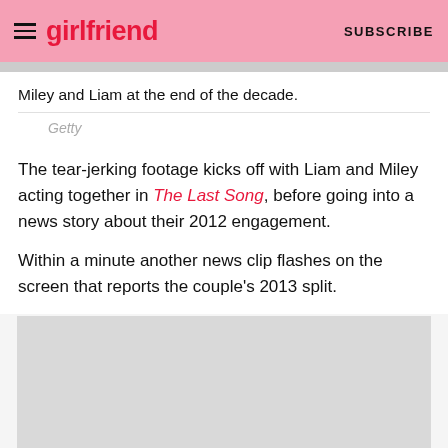girlfriend  SUBSCRIBE
Miley and Liam at the end of the decade.
Getty
The tear-jerking footage kicks off with Liam and Miley acting together in The Last Song, before going into a news story about their 2012 engagement.
Within a minute another news clip flashes on the screen that reports the couple's 2013 split.
[Figure (other): Advertisement or placeholder image block (grey rectangle)]